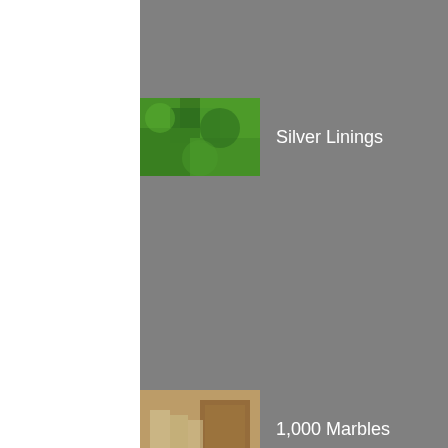Silver Linings
1,000 Marbles
2020, The Year that Was
Take Care of Yourself